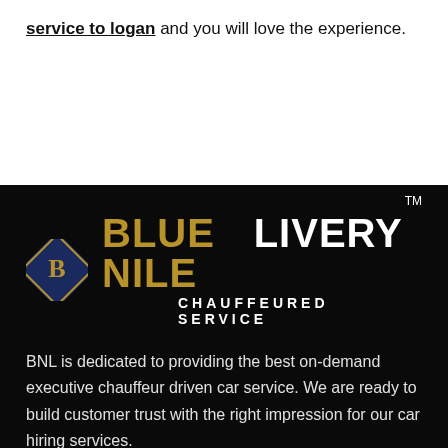service to logan and you will love the experience.
[Figure (logo): Blue Nile Livery Chauffeured Service logo — diamond B icon on left, 'BLUE NILE' in gold bold uppercase, 'LIVERY' in white bold uppercase with TM mark, 'CHAUFFEURED SERVICE' in white small caps below]
BNL is dedicated to providing the best on-demand executive chauffeur driven car service. We are ready to build customer trust with the right impression for our car hiring services.
[Figure (other): Social media icons: Facebook (blue rounded square with f), Instagram (blue rounded square with camera icon), Email (envelope outline)]